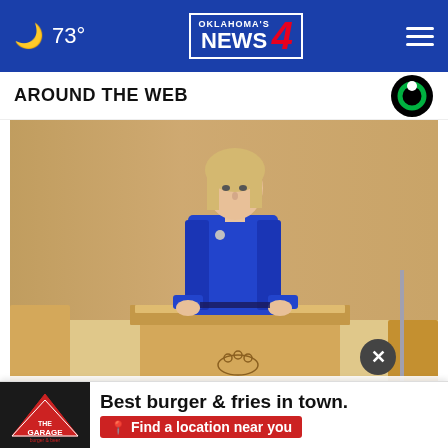🌙 73° — Oklahoma's News 4 — Menu
AROUND THE WEB
[Figure (photo): A woman in a blue blazer stands at a wooden podium/lectern in what appears to be a parliament or formal chamber setting with wood paneling in the background.]
Sweden says it has decided to apply for NATO membership
Best burger & fries in town. Find a location near you